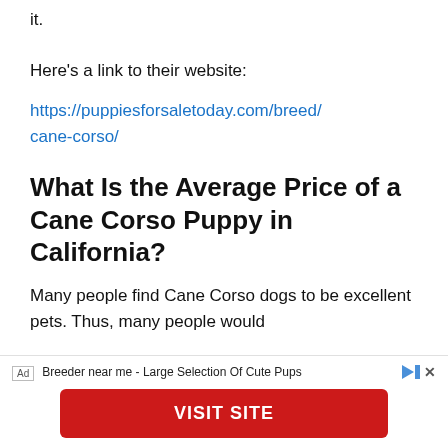it.
Here's a link to their website:
https://puppiesforsaletoday.com/breed/cane-corso/
What Is the Average Price of a Cane Corso Puppy in California?
Many people find Cane Corso dogs to be excellent pets. Thus, many people would
[Figure (other): Advertisement banner: 'Breeder near me - Large Selection Of Cute Pups' with a red VISIT SITE button]